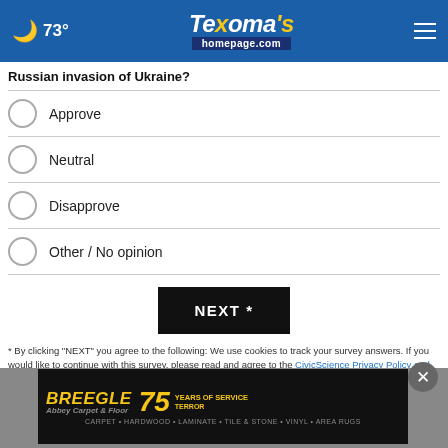🌙 73° | Texoma's homepage.com
Russian invasion of Ukraine?
Approve
Neutral
Disapprove
Other / No opinion
NEXT *
* By clicking "NEXT" you agree to the following: We use cookies to track your survey answers. If you would like to continue with this survey, please read and agree to the CivicScience Privacy Policy and Terms of Service
LATEST NEWS
[Figure (photo): Advertisement banner for Breegle Abbey Carpet & Floor - 75 Years of Service. Text: BREEGLE 75 YEARS OF SERVICE, Abbey Carpet & Floor, CARPET • HARDWOOD • LAMINATE • TILE & STONE • VINYL • AREA RUGS]